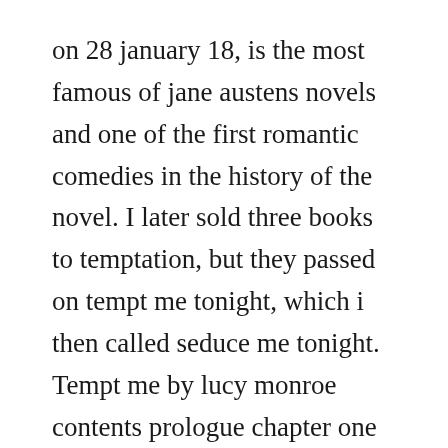on 28 january 18, is the most famous of jane austens novels and one of the first romantic comedies in the history of the novel. I later sold three books to temptation, but they passed on tempt me tonight, which i then called seduce me tonight. Tempt me by lucy monroe contents prologue chapter one chapter two chapter three chapter four chapter five chapter six. R g alexander ebooks epub and pdf format r g alexander ebooks.
Tempt me at twilight by lisa kleypas at the best online ebook storage. See,ask for it,